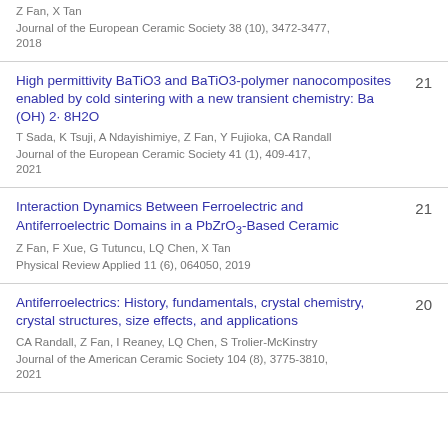Z Fan, X Tan
Journal of the European Ceramic Society 38 (10), 3472-3477, 2018
High permittivity BaTiO3 and BaTiO3-polymer nanocomposites enabled by cold sintering with a new transient chemistry: Ba (OH) 2· 8H2O
T Sada, K Tsuji, A Ndayishimiye, Z Fan, Y Fujioka, CA Randall
Journal of the European Ceramic Society 41 (1), 409-417, 2021
21
Interaction Dynamics Between Ferroelectric and Antiferroelectric Domains in a PbZrO3-Based Ceramic
Z Fan, F Xue, G Tutuncu, LQ Chen, X Tan
Physical Review Applied 11 (6), 064050, 2019
21
Antiferroelectrics: History, fundamentals, crystal chemistry, crystal structures, size effects, and applications
CA Randall, Z Fan, I Reaney, LQ Chen, S Trolier-McKinstry
Journal of the American Ceramic Society 104 (8), 3775-3810, 2021
20